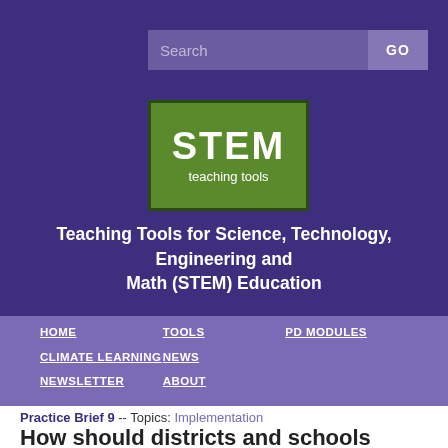[Figure (screenshot): STEM Teaching Tools website header with search bar, green STEM logo, site title, navigation menu, and beginning of a Practice Brief page]
Teaching Tools for Science, Technology, Engineering and Math (STEM) Education
HOME  TOOLS  PD MODULES  CLIMATE LEARNING  NEWS  NEWSLETTER  ABOUT
Practice Brief 9 -- Topics: Implementation
How should districts and schools